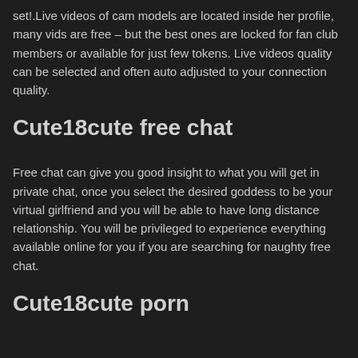set!.Live videos of cam models are located inside her profile, many vids are free – but the best ones are locked for fan club members or available for just few tokens. Live videos quality can be selected and often auto adjusted to your connection quality.
Cute18cute free chat
Free chat can give you good insight to what you will get in private chat, once you select the desired goddess to be your virtual girlfriend and you will be able to have long distance relationship. You will be privileged to experience everything available online for you if you are searching for naughty free chat.
Cute18cute porn